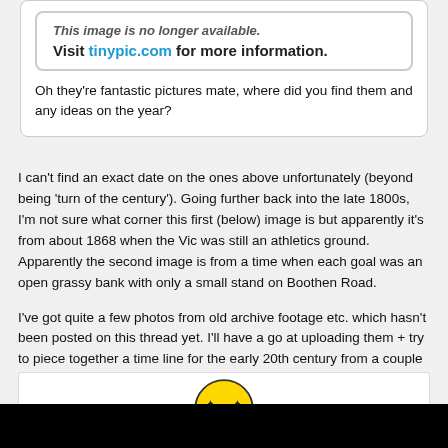[Figure (screenshot): Tinypic image unavailable notice with text: 'This image is no longer available. Visit tinypic.com for more information.']
Oh they're fantastic pictures mate, where did you find them and any ideas on the year?
I can't find an exact date on the ones above unfortunately (beyond being 'turn of the century'). Going further back into the late 1800s, I'm not sure what corner this first (below) image is but apparently it's from about 1868 when the Vic was still an athletics ground. Apparently the second image is from a time when each goal was an open grassy bank with only a small stand on Boothen Road.
I've got quite a few photos from old archive footage etc. which hasn't been posted on this thread yet. I'll have a go at uploading them + try to piece together a time line for the early 20th century from a couple of other books and videos.
[Figure (illustration): Yellow smiley face emoji/icon with star eyes, partially visible at bottom of page]